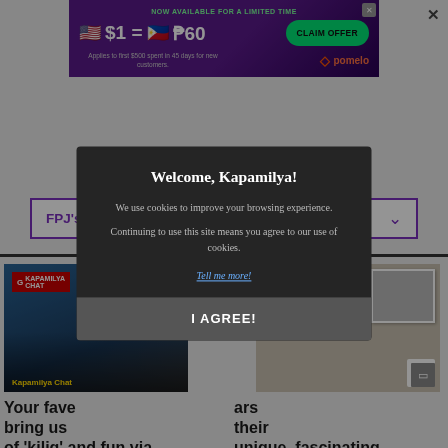[Figure (screenshot): Advertisement banner for Pomelo money transfer service showing $1 = ₱60 exchange rate with a 'CLAIM OFFER' button and Pomelo logo]
ARTICLES
FPJ's Ang Probinsyano Gallery
[Figure (photo): Two article card thumbnails: left shows Kapamilya Chat logo with couple, right shows a woman near shelves]
Your fave stars bring us their of 'kilig' and fun via unique, fascinating Kapamilya Chat collections games!
[Figure (screenshot): Cookie consent modal: Welcome, Kapamilya! We use cookies to improve your browsing experience. Continuing to use this site means you agree to our use of cookies. Tell me more! I AGREE!]